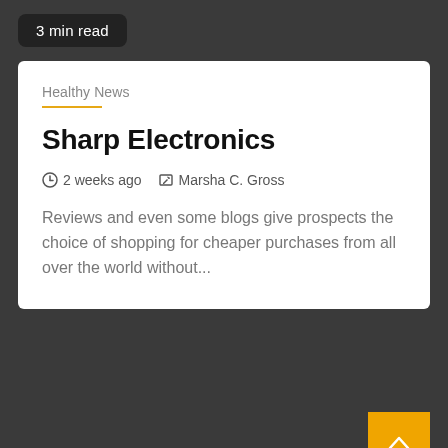3 min read
Healthy News
Sharp Electronics
2 weeks ago   Marsha C. Gross
Reviews and even some blogs give prospects the choice of shopping for cheaper purchases from all over the world without...